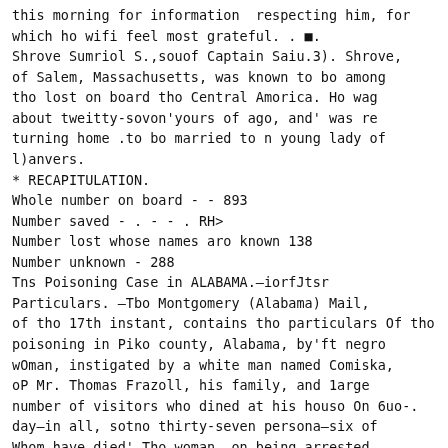this morning for information respecting him, for which ho wifi feel most grateful. . ■. Shrove Sumriol S.,souof Captain Saiu.3). Shrove, of Salem, Massachusetts, was known to bo among tho lost on board tho Central Amorica. Ho wag about tweitty-sovon'yours of ago, and' was returning home .to bo married to n young lady of l)anvers.
* RECAPITULATION.
Whole number on board - - 893
Number saved - . - - . RH>
Number lost whose names aro known 138
Number unknown - 288
Tns Poisoning Case in ALABAMA.—iorfJtsr Particulars. —Tbo Montgomery (Alabama) Mail, of tho 17th instant, contains tho particulars Of tho poisoning in Piko county, Alabama, by'ft negro wOman, instigated by a white man named Comiska, oP Mr. Thomas Frazoll, his family, and 1arge number of visitors who dined at his houso On 6uo-. day—in all, sotno thirty-seven persona—six of Whom have died' Tho woman, on being arrested, confessed thqt the white man had given her& vial containing anenio, which he instructed her to mingle with "the meal, tho milk, the butter, and